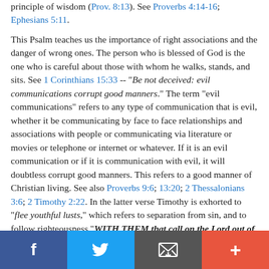principle of wisdom (Prov. 8:13). See Proverbs 4:14-16; Ephesians 5:11.

This Psalm teaches us the importance of right associations and the danger of wrong ones. The person who is blessed of God is the one who is careful about those with whom he walks, stands, and sits. See 1 Corinthians 15:33 -- "Be not deceived: evil communications corrupt good manners." The term "evil communications" refers to any type of communication that is evil, whether it be communicating by face to face relationships and associations with people or communicating via literature or movies or telephone or internet or whatever. If it is an evil communication or if it is communication with evil, it will doubtless corrupt good manners. This refers to a good manner of Christian living. See also Proverbs 9:6; 13:20; 2 Thessalonians 3:6; 2 Timothy 2:22. In the latter verse Timothy is exhorted to "flee youthful lusts," which refers to separation from sin, and to follow righteousness "WITH THEM that call on the Lord out of a pure heart." Thus Paul emphasized to Timothy the necessity of right associations.
Facebook | Twitter | Email | More